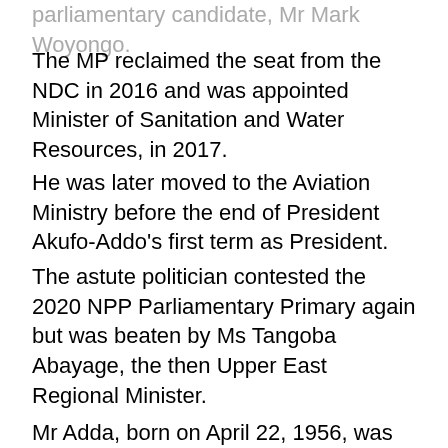parliamentary candidate, Mr Mark Woyongo.
The MP reclaimed the seat from the NDC in 2016 and was appointed Minister of Sanitation and Water Resources, in 2017.
He was later moved to the Aviation Ministry before the end of President Akufo-Addo's first term as President.
The astute politician contested the 2020 NPP Parliamentary Primary again but was beaten by Ms Tangoba Abayage, the then Upper East Regional Minister.
Mr Adda, born on April 22, 1956, was from Navron-Pungu Wusunyu, Navrongo.
He held a Bachelor's Degree in Science and a Diploma in Economics.